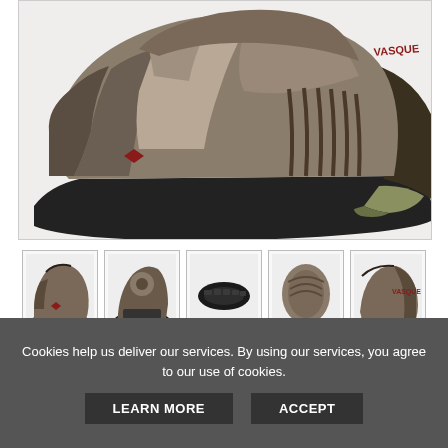[Figure (photo): Main product image of a Vasque hiking shoe/trail runner in brown/tan with aggressive rubber outsole and red diamond logo on side]
[Figure (photo): Thumbnail 1: front/side view of Vasque hiking shoe]
[Figure (photo): Thumbnail 2: heel/back view of Vasque hiking shoe]
[Figure (photo): Thumbnail 3: sole/bottom view of Vasque hiking shoe]
[Figure (photo): Thumbnail 4: top view of Vasque hiking shoe]
[Figure (photo): Thumbnail 5: side/lateral view of Vasque hiking shoe]
Price: $109.95
As of 2021-09-30 04:06:55 UTC (more info)
Availability: Not Available Discontinued
Cookies help us deliver our services. By using our services, you agree to our use of cookies.